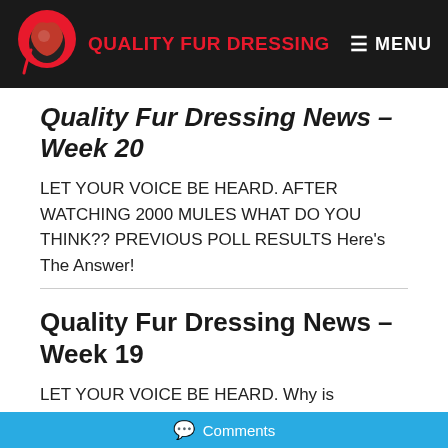Quality Fur Dressing | MENU
Quality Fur Dressing News – Week 20
LET YOUR VOICE BE HEARD. AFTER WATCHING 2000 MULES WHAT DO YOU THINK?? PREVIOUS POLL RESULTS Here's The Answer!
Quality Fur Dressing News – Week 19
LET YOUR VOICE BE HEARD. Why is Congress sending $40B to Ukraine when Americans are suffering from high inflation, high gas prices, out-of-stock baby formula, and a terrible supply chain? PREVIOUS POLL RESULTS Here's The Answer!
Comments